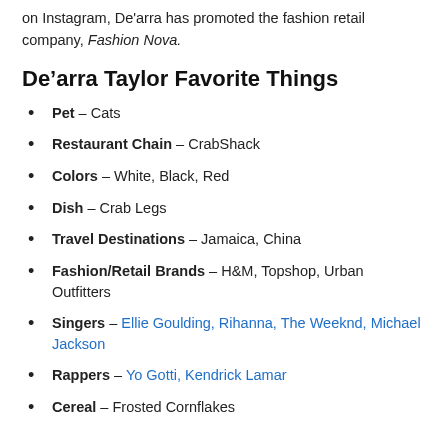on Instagram, De'arra has promoted the fashion retail company, Fashion Nova.
De’arra Taylor Favorite Things
Pet – Cats
Restaurant Chain – CrabShack
Colors – White, Black, Red
Dish – Crab Legs
Travel Destinations – Jamaica, China
Fashion/Retail Brands – H&M, Topshop, Urban Outfitters
Singers – Ellie Goulding, Rihanna, The Weeknd, Michael Jackson
Rappers – Yo Gotti, Kendrick Lamar
Cereal – Frosted Cornflakes